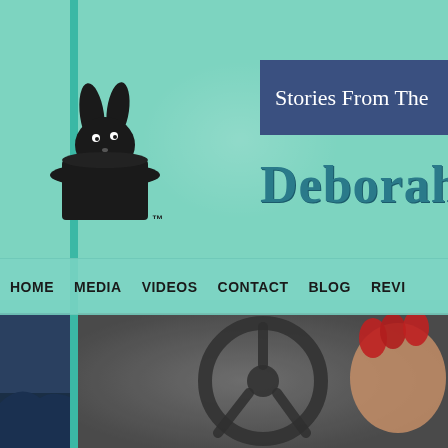[Figure (screenshot): Website header screenshot showing a rabbit-in-hat magician logo on the left, a navy blue banner reading 'Stories From The' in the upper right, and the name 'Deborah' in large teal decorative text below the banner. Navigation bar with items: HOME, MEDIA, VIDEOS, CONTACT, BLOG, REVI(EWS). Bottom portion shows a blurred photo of a steering wheel with a red-nailed hand.]